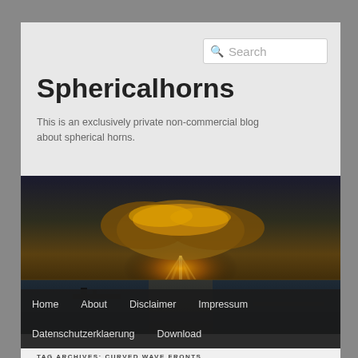Search
Sphericalhorns
This is an exclusively private non-commercial blog about spherical horns.
[Figure (photo): Dramatic sunset over the ocean with a ship silhouette and golden clouds.]
Home
About
Disclaimer
Impressum
Datenschutzerklaerung
Download
TAG ARCHIVES: CURVED WAVE FRONTS